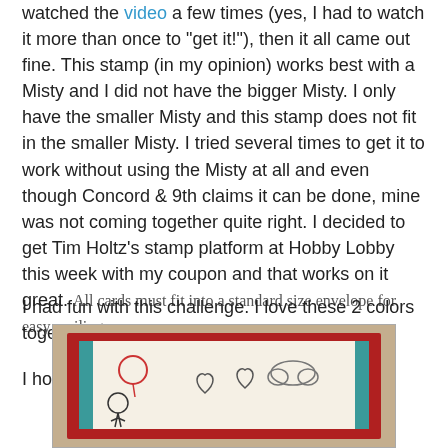watched the video a few times (yes, I had to watch it more than once to "get it!"), then it all came out fine. This stamp (in my opinion) works best with a Misty and I did not have the bigger Misty. I only have the smaller Misty and this stamp does not fit in the smaller Misty. I tried several times to get it to work without using the Misty at all and even though Concord & 9th claims it can be done, mine was not coming together quite right. I decided to get Tim Holtz's stamp platform at Hobby Lobby this week with my coupon and that works on it great. All cards must fit into a standard size envelope for easy mailing.
I had fun with this challenge. I love these 2 colors together - teal and red.
I hope you'll join us in our our challenge here.
[Figure (photo): A handmade greeting card with red border and teal accents, featuring line drawings of cartoon animals/characters on a cream background, sitting on a tan/beige surface.]